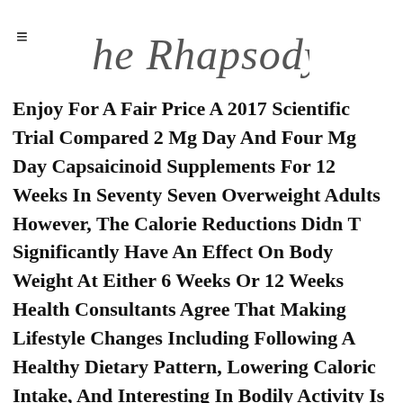the Rhapsody
Enjoy For A Fair Price A 2017 Scientific Trial Compared 2 Mg Day And Four Mg Day Capsaicinoid Supplements For 12 Weeks In Seventy Seven Overweight Adults However, The Calorie Reductions Didn T Significantly Have An Effect On Body Weight At Either 6 Weeks Or 12 Weeks Health Consultants Agree That Making Lifestyle Changes Including Following A Healthy Dietary Pattern, Lowering Caloric Intake, And Interesting In Bodily Activity Is The Basis For Achieving Long Term Weight Reduction 4 Best Weight Loss Pills 7 The Number Of Energy That An Individual Physique Needs Every Day Primarily Based On His Her Exercise Stage.